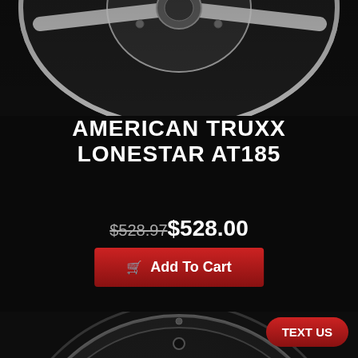[Figure (photo): Close-up of a chrome/polished alloy wheel (top portion visible), against a dark background]
AMERICAN TRUXX LONESTAR AT185
$528.97 $528.00
Add To Cart
[Figure (photo): Front view of a black matte alloy wheel with machined accents, center cap reads CALI Offroad, against a dark background]
TEXT US